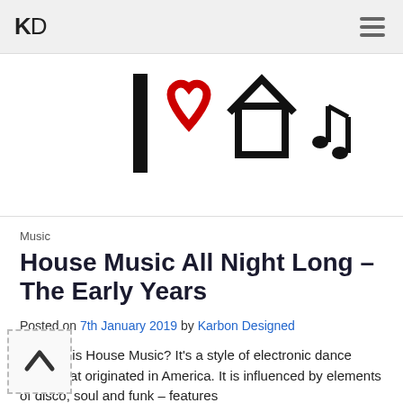KD
[Figure (illustration): Hero image showing 'I love house music' icons: letter I, red heart outline, house/home icon, musical notes — black and red line art on white background]
Music
House Music All Night Long – The Early Years
Posted on 7th January 2019 by Karbon Designed
So what is House Music? It's a style of electronic dance music that originated in America. It is influenced by elements of disco, soul and funk – features